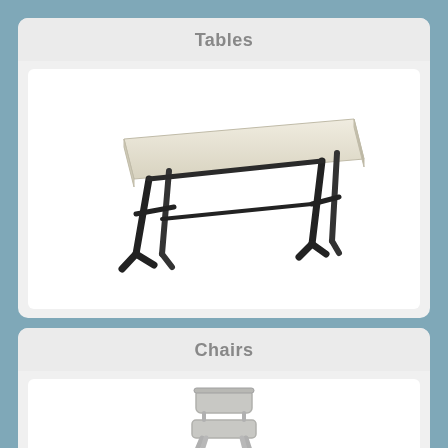Tables
[Figure (photo): A folding table with a cream/off-white rectangular tabletop and black metal folding legs, shown in perspective view against a white background.]
Chairs
[Figure (photo): A folding chair with a light gray padded seat and back, with silver metal folding frame, shown at an angle against a white background.]